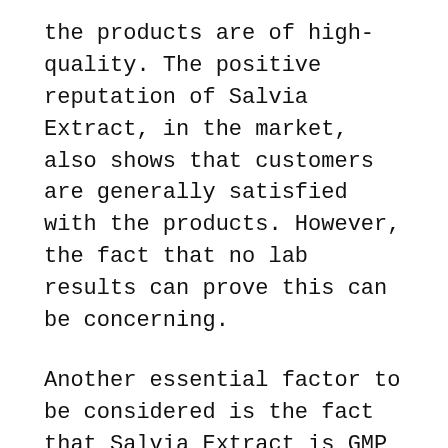the products are of high-quality. The positive reputation of Salvia Extract, in the market, also shows that customers are generally satisfied with the products. However, the fact that no lab results can prove this can be concerning.
Another essential factor to be considered is the fact that Salvia Extract is GMP compliant (standards set by FDA). This compliance indicates, to some extent, that products are of good quality.
Moreover, on every product's page, the representatives have continuously mentioned how they are dedicated to